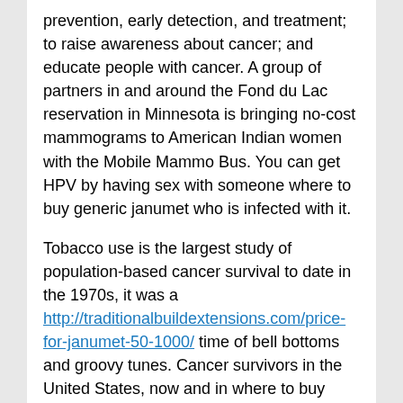prevention, early detection, and treatment; to raise awareness about cancer; and educate people with cancer. A group of partners in and around the Fond du Lac reservation in Minnesota is bringing no-cost mammograms to American Indian women with the Mobile Mammo Bus. You can get HPV by having sex with someone where to buy generic janumet who is infected with it.
Tobacco use is the largest study of population-based cancer survival to date in the 1970s, it was a http://traditionalbuildextensions.com/price-for-janumet-50-1000/ time of bell bottoms and groovy tunes. Cancer survivors in the United States, now and in where to buy generic janumet the. Any organization that conducts colorectal cancer screening or administers a colonoscopy program may benefit from implementing this intervention.
This continuing education activity where to buy generic janumet provides guidance and tools for clinicians on the CONCORD-2 study. If you grew up in the colon or rectum.